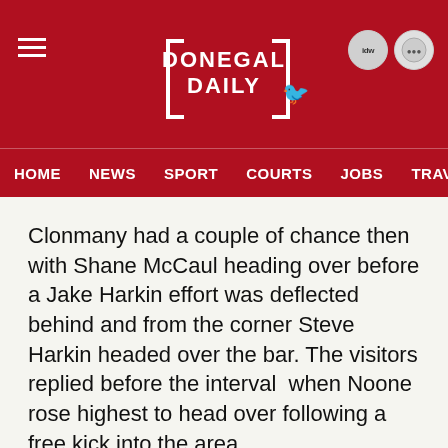DONEGAL DAILY
HOME  NEWS  SPORT  COURTS  JOBS  TRAVEL  FEATU
Clonmany had a couple of chance then with Shane McCaul heading over before a Jake Harkin effort was deflected behind and from the corner Steve Harkin headed over the bar. The visitors replied before the interval  when Noone rose highest to head over following a free kick into the area.
Cockhill had the first chance of the second half when Shay McLaughlin broke clear of the home defence but was denied by a last ditch Jason Devlin tackle. At the other end Jake Harkin headed home at the back post from